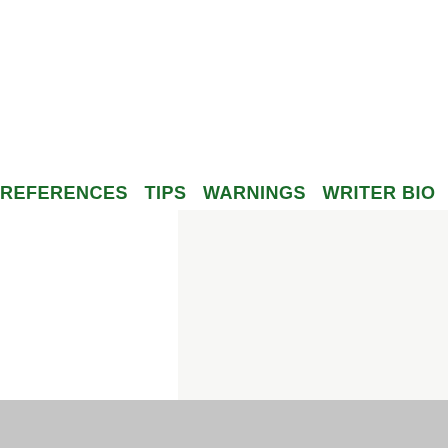REFERENCES  TIPS  WARNINGS  WRITER BIO
[Figure (other): Light gray/off-white content area box below navigation bar]